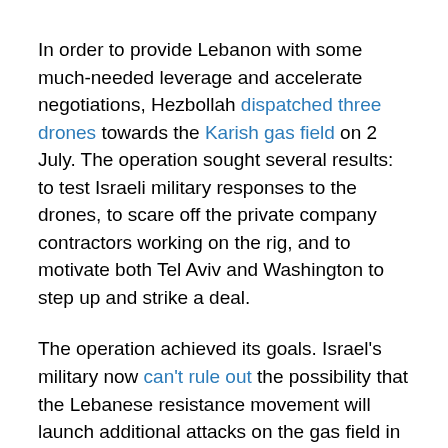In order to provide Lebanon with some much-needed leverage and accelerate negotiations, Hezbollah dispatched three drones towards the Karish gas field on 2 July. The operation sought several results: to test Israeli military responses to the drones, to scare off the private company contractors working on the rig, and to motivate both Tel Aviv and Washington to step up and strike a deal.
The operation achieved its goals. Israel's military now can't rule out the possibility that the Lebanese resistance movement will launch additional attacks on the gas field in the near future, or provoke Israel in a different manner – if the maritime dispute is not ironed out, and soon.